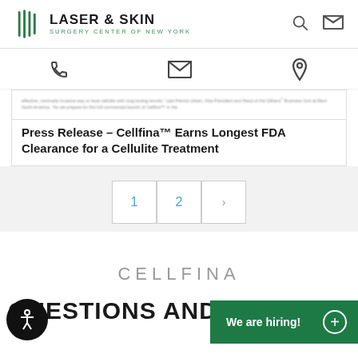[Figure (logo): Laser & Skin Surgery Center of New York logo with green vertical lines icon]
[Figure (infographic): Navigation icons bar with phone, envelope, and map pin icons]
effective, minimally invasive way to treat cellulite with long lasting results, said Patrick Urban, Vice President and Head of the Ulthera Business Unit at Merz North America. As we prepare for the full commercial launch of Cellfina in the...
Press Release – Cellfina™ Earns Longest FDA Clearance for a Cellulite Treatment
1  2  >
CELLFINA
QUESTIONS AND